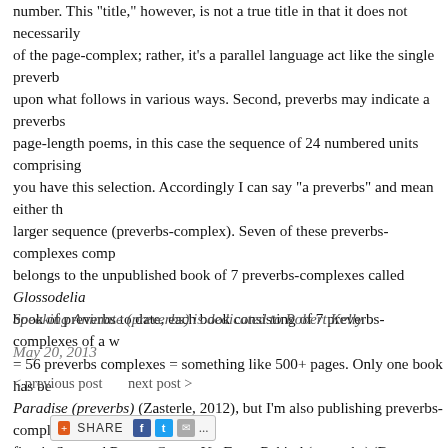number. This "title," however, is not a true title in that it does not necessarily of the page-complex; rather, it's a parallel language act like the single preverb upon what follows in various ways. Second, preverbs may indicate a preverbs page-length poems, in this case the sequence of 24 numbered units comprising you have this selection. Accordingly I can say "a preverbs" and mean either th larger sequence (preverbs-complex). Seven of these preverbs-complexes comp belongs to the unpublished book of 7 preverbs-complexes called Glossodelia book of preverbs to date, each book consisting of 7 preverbs-complexes of a w = 56 preverbs complexes = something like 500+ pages. Only one book has be Paradise (preverbs) (Zasterle, 2012), but I'm also publishing preverbs-comple first is Scorned Beauty Comes Up From Behind (preverbs) (Between Editions
Speaking Animate (preverbs) is dedicated to Robert Kelly
May 20, 2013
< previous post    next post >
[Figure (other): Share button bar with AddThis share icon, Facebook, Twitter, email icons and ellipsis]